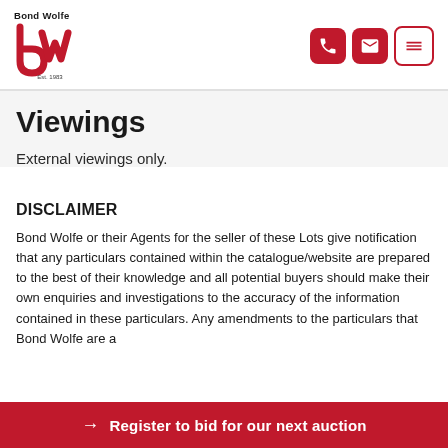Bond Wolfe — logo header with phone, email, and menu icons
Viewings
External viewings only.
DISCLAIMER
Bond Wolfe or their Agents for the seller of these Lots give notification that any particulars contained within the catalogue/website are prepared to the best of their knowledge and all potential buyers should make their own enquiries and investigations to the accuracy of the information contained in these particulars. Any amendments to the particulars that Bond Wolfe are a...
→ Register to bid for our next auction